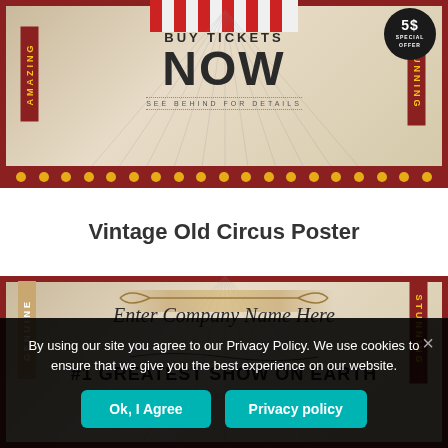[Figure (illustration): Vintage circus poster with red and cream design. Top banner reads 'BUY TICKETS NOW' in large bold text with 'SEE BEHIND FOR DETAILS' below. Side banners read 'AMAZING' and 'STUNNING'. A special offer badge is in top right. Bottom row of gold dots on red bar.]
Vintage Old Circus Poster
[Figure (illustration): Second vintage circus poster with cream and red frame. Left banner reads 'GENUINE', right reads 'STUNNING'. Center has italic script 'Enter Company Name Here' and bold text '#1 GREATEST SHOW ON EARTH'.]
By using our site you agree to our Privacy Policy. We use cookies to ensure that we give you the best experience on our website.
Ok, I Agree
Privacy policy